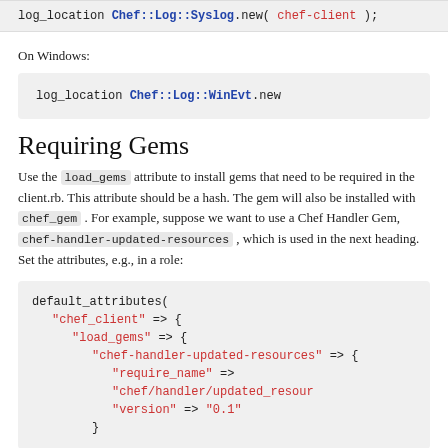[Figure (screenshot): Code snippet showing: log_location Chef::Log::Syslog.new( chef-client );]
On Windows:
[Figure (screenshot): Code block: log_location Chef::Log::WinEvt.new]
Requiring Gems
Use the load_gems attribute to install gems that need to be required in the client.rb. This attribute should be a hash. The gem will also be installed with chef_gem . For example, suppose we want to use a Chef Handler Gem, chef-handler-updated-resources , which is used in the next heading. Set the attributes, e.g., in a role:
[Figure (screenshot): Code block showing default_attributes( "chef_client" => { "load_gems" => { "chef-handler-updated-resources" => { "require_name" => "chef/handler/updated_resour... "version" => "0.1" }]